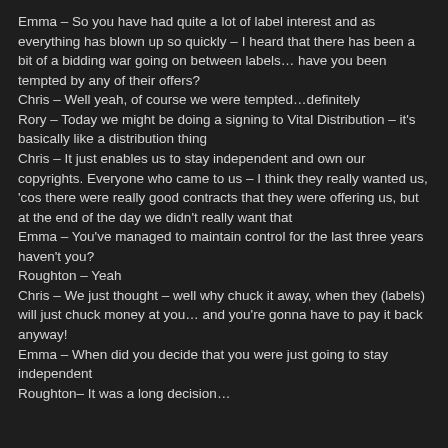Emma – So you have had quite a lot of label interest and as everything has blown up so quickly – I heard that there has been a bit of a bidding war going on between labels… have you been tempted by any of their offers?
Chris – Well yeah, of course we were tempted…definitely
Rory – Today we might be doing a signing to Vital Distribution – it's basically like a distribution thing
Chris – It just enables us to stay independent and own our copyrights. Everyone who came to us – I think they really wanted us, 'cos there were really good contracts that they were offering us, but at the end of the day we didn't really want that
Emma – You've managed to maintain control for the last three years haven't you?
Roughton – Yeah
Chris – We just thought – well why chuck it away, when they (labels) will just chuck money at you… and you're gonna have to pay it back anyway!
Emma – When did you decide that you were just going to stay independent
Roughton– It was a long decision…